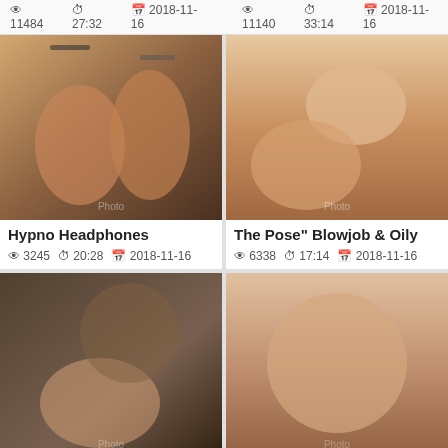👁 11484  ⏱ 27:32  📅 2018-11-16  👁 11140  ⏱ 33:14  📅 2018-11-16
[Figure (photo): Two women dancing, one with headphones]
Hypno Headphones
👁 3245  ⏱ 20:28  📅 2018-11-16
[Figure (photo): Close up feet and hand with tattoo]
The Pose" Blowjob & Oily
👁 6338  ⏱ 17:14  📅 2018-11-16
[Figure (photo): Asian woman with man]
NGOD-017 Erika Kitagawa
[Figure (photo): Explicit sexual content]
Sexy BBW sucks n fucks into